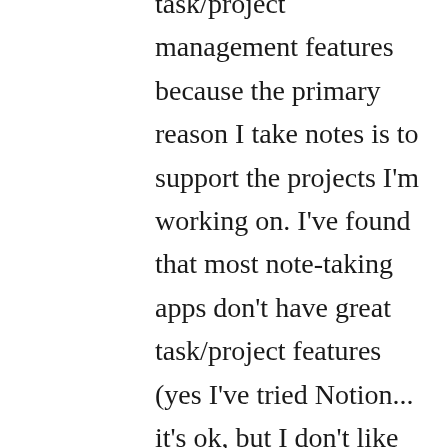task/project management features because the primary reason I take notes is to support the projects I'm working on. I've found that most note-taking apps don't have great task/project features (yes I've tried Notion... it's ok, but I don't like it), and task/project apps don't have robust note-taking features. But that's my personal use case. Thanks again